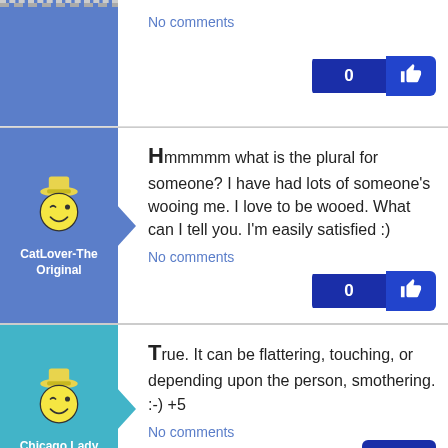[Figure (illustration): Blue avatar column (partial top row, no visible user icon), comment area with 'No comments' link and like button showing 0]
No comments
[Figure (illustration): CatLover-The Original avatar: yellow smiley face with hat on blue background with arrow pointer]
CatLover-The Original
Hmmmmm what is the plural for someone? I have had lots of someone's wooing me. I love to be wooed. What can I tell you. I'm easily satisfied :)
No comments
[Figure (illustration): Chicago Lady avatar: yellow smiley face with hat on teal background with arrow pointer]
Chicago Lady
True. It can be flattering, touching, or depending upon the person, smothering. :-) +5
No comments